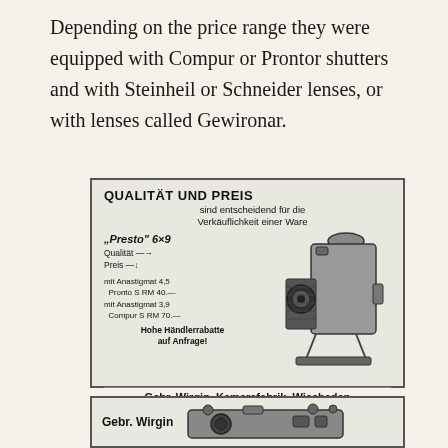Depending on the price range they were equipped with Compur or Prontor shutters and with Steinheil or Schneider lenses, or with lenses called Gewironar.
[Figure (illustration): Vintage German camera advertisement. Header: 'QUALITÄT UND PREIS sind entscheidend für die Verkäuflichkeit einer Ware'. Product: "Presto" 6×9 with Qualität and Preis arrows. Specs: mit Anastigmat 4,5 Pronto S RM 40.— and mit Anastigmat 3,9 Compur S RM 70.—. Bold text: Hohe Händlerrabatte auf Anfrage! Footer: Gebr. Wirgin, Kamerafabrik, Wiesbaden. Right side shows illustration of a folding camera.]
[Figure (illustration): Partial view of a second Gebr. Wirgin advertisement showing the brand name 'Gebr. Wirgin' and a rangefinder-style camera.]